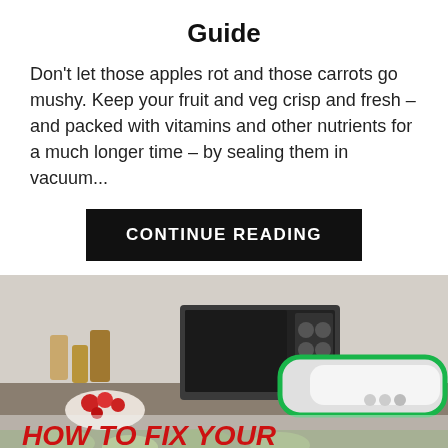Guide
Don't let those apples rot and those carrots go mushy. Keep your fruit and veg crisp and fresh – and packed with vitamins and other nutrients for a much longer time – by sealing them in vacuum...
CONTINUE READING
[Figure (photo): A FoodSaver vacuum sealer on a kitchen counter with fruits and vegetables nearby. Overlay text reads: HOW TO FIX YOUR FOODSAVER VACUUM SEALER?]